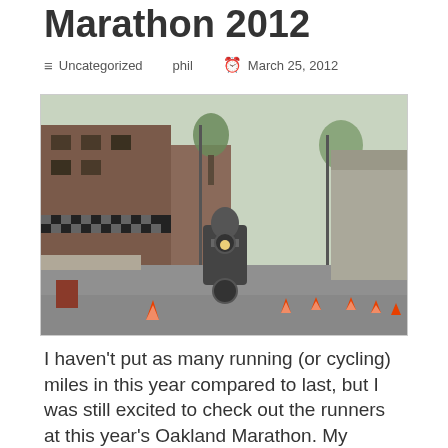Marathon 2012
≡ Uncategorized    phil    🕐 March 25, 2012
[Figure (photo): A police motorcycle officer riding down a closed-off urban street lined with orange traffic cones, storefronts visible on the left, trees and more cones on the right, during what appears to be a marathon event.]
I haven't put as many running (or cycling) miles in this year compared to last, but I was still excited to check out the runners at this year's Oakland Marathon. My girlfriend